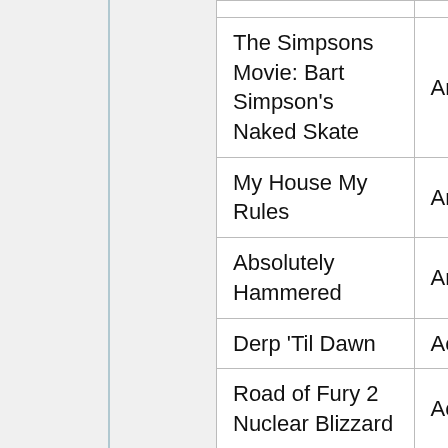| Game | Genre |
| --- | --- |
| The Simpsons Movie: Bart Simpson's Naked Skate | Arcade |
| My House My Rules | Arcade |
| Absolutely Hammered | Arcade |
| Derp 'Til Dawn | Action |
| Road of Fury 2 Nuclear Blizzard | Action |
| Steamshovel Harry | Shooter |
| Isoball X1 | Puzzle |
| SOPA eliminator | Puzzle |
| Paladog | Strategy |
| Avalanche! | Arcade |
| Mawaru Penguindrum Girls Dress Up | Dress-Up |
| Neon Rider | Motocross |
| Gem Training: Bubble | Arcade |